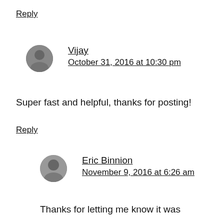Reply
Vijay
October 31, 2016 at 10:30 pm
Super fast and helpful, thanks for posting!
Reply
Eric Binnion
November 9, 2016 at 6:26 am
Thanks for letting me know it was